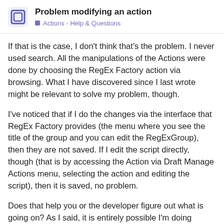Problem modifying an action
Actions - Help & Questions
If that is the case, I don’t think that’s the problem. I never used search. All the manipulations of the Actions were done by choosing the RegEx Factory action via browsing. What I have discovered since I last wrote might be relevant to solve my problem, though.
I’ve noticed that if I do the changes via the interface that RegEx Factory provides (the menu where you see the title of the group and you can edit the RegExGroup), then they are not saved. If I edit the script directly, though (that is by accessing the Action via Draft Manage Actions menu, selecting the action and editing the script), then it is saved, no problem.
Does that help you or the developer figure out what is going on? As I said, it is entirely possible I’m doing something wrong. This is the first time I do this. Is it possible, for instance, that I don’t have the right settings in Drafts to save the modifications I make in the